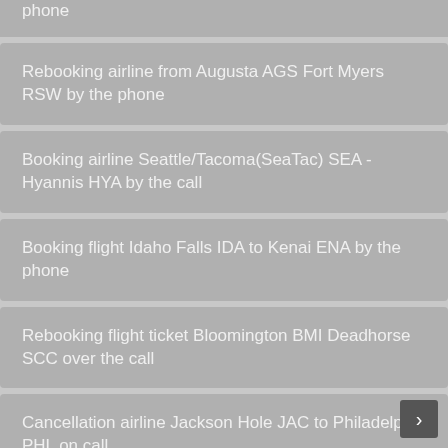phone
Rebooking airline from Augusta AGS Fort Myers RSW by the phone
Booking airline Seattle/Tacoma(SeaTac) SEA - Hyannis HYA by the call
Booking flight Idaho Falls IDA to Kenai ENA by the phone
Rebooking flight ticket Bloomington BMI Deadhorse SCC over the call
Cancellation airline Jackson Hole JAC to Philadelphia PHL on call
Rebooking flight Sarasota SRQ to Rochester RST by call